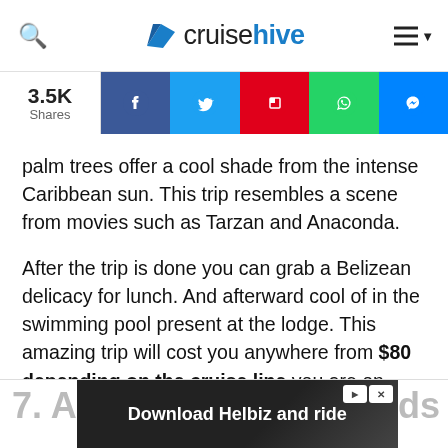cruisehive
[Figure (infographic): Social share bar with 3.5K shares count and buttons for Facebook, Twitter, Flipboard, WhatsApp, Messenger]
palm trees offer a cool shade from the intense Caribbean sun. This trip resembles a scene from movies such as Tarzan and Anaconda.
After the trip is done you can grab a Belizean delicacy for lunch. And afterward cool of in the swimming pool present at the lodge. This amazing trip will cost you anywhere from $80 depending on the cruise line you are on.
[Figure (screenshot): Advertisement banner showing a bicycle handlebar with text 'Download Helbiz and ride']